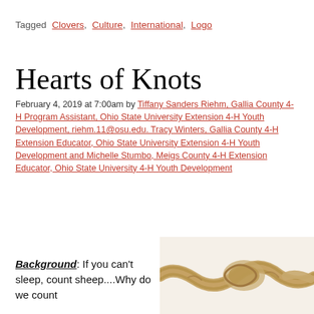Tagged  Clovers,  Culture,  International,  Logo
Hearts of Knots
February 4, 2019 at 7:00am by Tiffany Sanders Riehm, Gallia County 4-H Program Assistant, Ohio State University Extension 4-H Youth Development, riehm.11@osu.edu. Tracy Winters, Gallia County 4-H Extension Educator, Ohio State University Extension 4-H Youth Development and Michelle Stumbo, Meigs County 4-H Extension Educator, Ohio State University 4-H Youth Development
Background: If you can't sleep, count sheep....Why do we count
[Figure (photo): Close-up photograph of a knotted rope, showing a heart-shaped knot against a white background.]